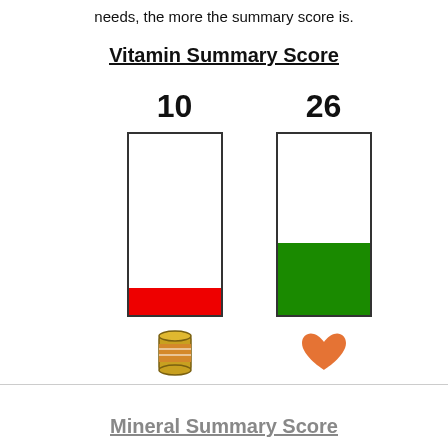needs, the more the summary score is.
Vitamin Summary Score
[Figure (bar-chart): Two vertical bar charts showing vitamin summary scores of 10 (red fill, small) and 26 (green fill, larger).]
Mineral Summary Score